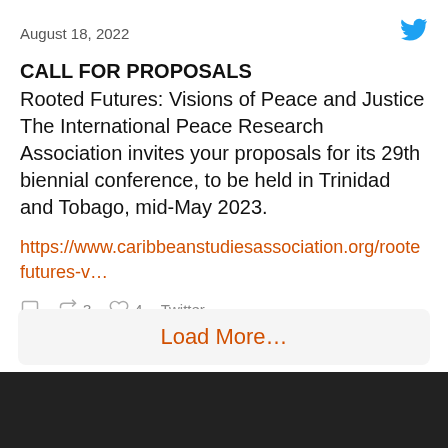August 18, 2022
CALL FOR PROPOSALS
Rooted Futures: Visions of Peace and Justice The International Peace Research Association invites your proposals for its 29th biennial conference, to be held in Trinidad and Tobago, mid-May 2023.
https://www.caribbeanstudiesassociation.org/rootefutures-v…
3  4  Twitter
Load More…